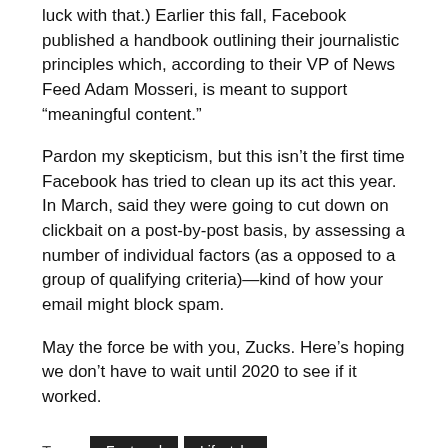luck with that.) Earlier this fall, Facebook published a handbook outlining their journalistic principles which, according to their VP of News Feed Adam Mosseri, is meant to support “meaningful content.”
Pardon my skepticism, but this isn’t the first time Facebook has tried to clean up its act this year. In March, said they were going to cut down on clickbait on a post-by-post basis, by assessing a number of individual factors (as a opposed to a group of qualifying criteria)—kind of how your email might block spam.
May the force be with you, Zucks. Here’s hoping we don’t have to wait until 2020 to see if it worked.
Tags: Featured Lifestyle